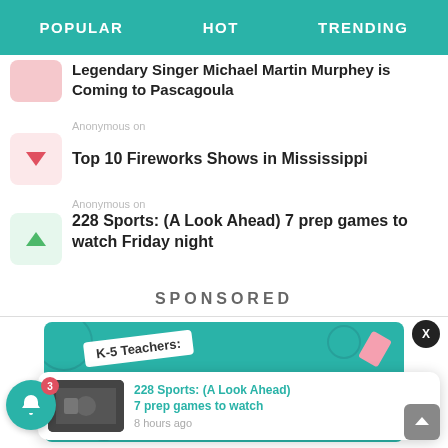POPULAR   HOT   TRENDING
Legendary Singer Michael Martin Murphey is Coming to Pascagoula
Anonymous on
Top 10 Fireworks Shows in Mississippi
Anonymous on
228 Sports: (A Look Ahead) 7 prep games to watch Friday night
SPONSORED
[Figure (screenshot): Sponsored content card with teal background and text partially visible]
228 Sports: (A Look Ahead) 7 prep games to watch
8 hours ago